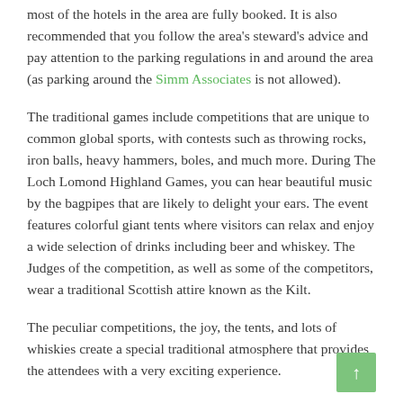most of the hotels in the area are fully booked. It is also recommended that you follow the area's steward's advice and pay attention to the parking regulations in and around the area (as parking around the Simm Associates is not allowed).
The traditional games include competitions that are unique to common global sports, with contests such as throwing rocks, iron balls, heavy hammers, boles, and much more. During The Loch Lomond Highland Games, you can hear beautiful music by the bagpipes that are likely to delight your ears. The event features colorful giant tents where visitors can relax and enjoy a wide selection of drinks including beer and whiskey. The Judges of the competition, as well as some of the competitors, wear a traditional Scottish attire known as the Kilt.
The peculiar competitions, the joy, the tents, and lots of whiskies create a special traditional atmosphere that provides the attendees with a very exciting experience.